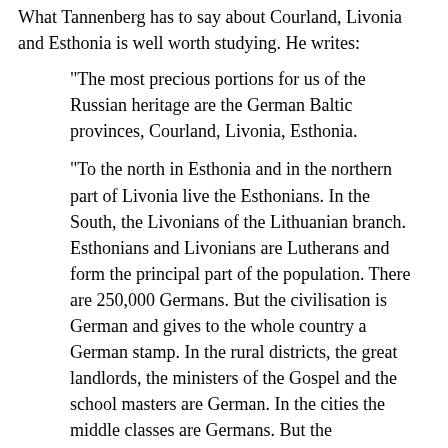What Tannenberg has to say about Courland, Livonia and Esthonia is well worth studying. He writes:
"The most precious portions for us of the Russian heritage are the German Baltic provinces, Courland, Livonia, Esthonia.
"To the north in Esthonia and in the northern part of Livonia live the Esthonians. In the South, the Livonians of the Lithuanian branch. Esthonians and Livonians are Lutherans and form the principal part of the population. There are 250,000 Germans. But the civilisation is German and gives to the whole country a German stamp. In the rural districts, the great landlords, the ministers of the Gospel and the school masters are German. In the cities the middle classes are Germans. But the workingmen are Esthonians or Livonians. The Russians are only represented in the large cities by officials.
"It was in the middle of the twelfth century that the first German settlements were made at the mouth of the Dina. In 1201, Riga was founded, and, in 1202, the Order of the Knights of the Sword. In 1237 this Order was united with the powerful Order of the Teutonic Knights. There was no thought then of the Muscovites